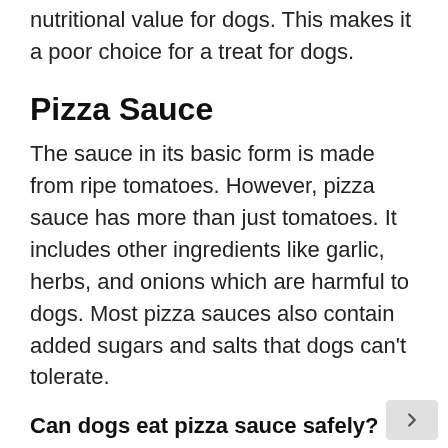nutritional value for dogs. This makes it a poor choice for a treat for dogs.
Pizza Sauce
The sauce in its basic form is made from ripe tomatoes. However, pizza sauce has more than just tomatoes. It includes other ingredients like garlic, herbs, and onions which are harmful to dogs. Most pizza sauces also contain added sugars and salts that dogs can't tolerate.
Can dogs eat pizza sauce safely?
No, dogs can't eat pizza sauce safely. This is because while tomatoes are not toxic for dogs, significant amounts of salts together with